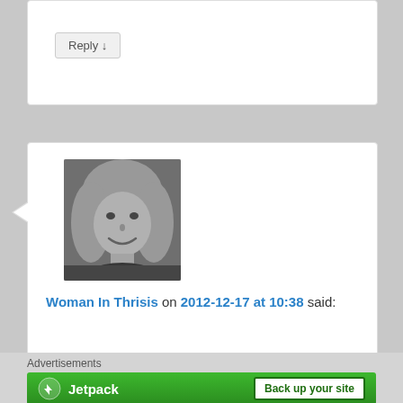Reply ↓
[Figure (photo): Black and white portrait photo of a woman with blonde hair, smiling]
Woman In Thrisis on 2012-12-17 at 10:38 said:
Reblogged this on Woman In Thrisis and commented: Too lovely not to share with the readers of my blog. I loved it!
★ Like
Advertisements
[Figure (screenshot): Jetpack advertisement banner with green background, Jetpack logo on left and 'Back up your site' button on right]